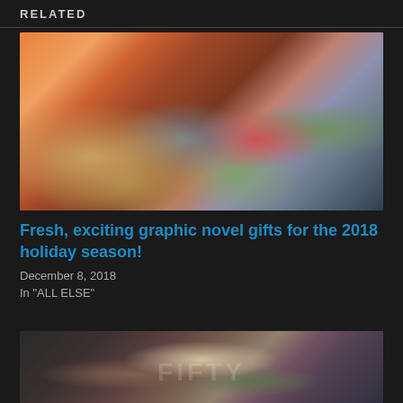RELATED
[Figure (illustration): Comic book style illustration showing alien and creature characters in a colorful scene with orange sky background]
Fresh, exciting graphic novel gifts for the 2018 holiday season!
December 8, 2018
In "ALL ELSE"
[Figure (photo): Partially visible image below, showing text reading FIFTY and a person with a creature, dark background]